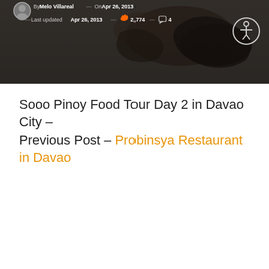[Figure (photo): Dark header image showing grilled or roasted food items, with author metadata and accessibility button overlaid]
Sooo Pinoy Food Tour Day 2 in Davao City – Previous Post – Probinsya Restaurant in Davao